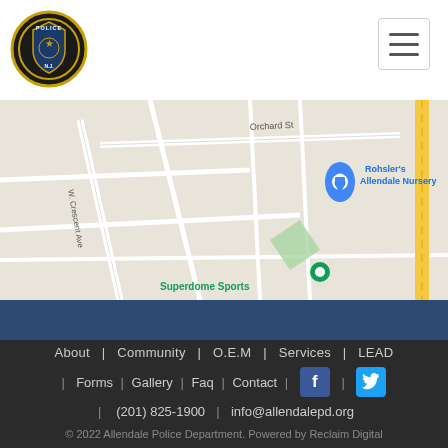[Figure (logo): Allendale Police Department badge logo, circular with police shield design]
[Figure (map): Google Maps screenshot showing Allendale NJ area with pins for Rohsler's Allendale Nursery and Superdome Sports, showing streets including Orchard St, W Crescent Ave]
About | Community | O.E.M | Services | LEAD | Forms | Gallery | Faq | Contact | (201) 825-1900 | info@allendalepd.org
© 2022 Allendale Police Department. Powered by Reclaim Digital